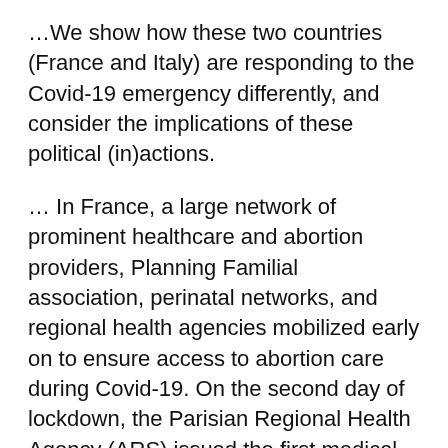…We show how these two countries (France and Italy) are responding to the Covid-19 emergency differently, and consider the implications of these political (in)actions.
… In France, a large network of prominent healthcare and abortion providers, Planning Familial association, perinatal networks, and regional health agencies mobilized early on to ensure access to abortion care during Covid-19. On the second day of lockdown, the Parisian Regional Health Agency (ARS) issued the first medical recommendations on the adaptation of abortion services. The French government promptly responded by introducing a number of exceptions, including the extension of medical abortion at home from seven to nine weeks amenorrhea, in combination with newly available telemedicine consultation. Furthermore, the planning of surgical